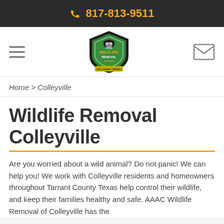817-813-9511
[Figure (logo): AAAC Wildlife Removal logo — green shield with raccoon silhouette, 'AAAC Wildlife Removal A All Animal Control' text]
Home > Colleyville
Wildlife Removal Colleyville
Are you worried about a wild animal? Do not panic! We can help you! We work with Colleyville residents and homeowners throughout Tarrant County Texas help control their wildlife, and keep their families healthy and safe. AAAC Wildlife Removal of Colleyville has the